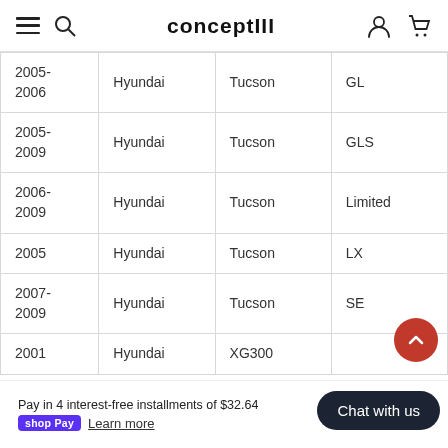concept III
| Year | Make | Model | Trim |
| --- | --- | --- | --- |
| 2005-2006 | Hyundai | Tucson | GL |
| 2005-2009 | Hyundai | Tucson | GLS |
| 2006-2009 | Hyundai | Tucson | Limited |
| 2005 | Hyundai | Tucson | LX |
| 2007-2009 | Hyundai | Tucson | SE |
| 2001 | Hyundai | XG300 |  |
Pay in 4 interest-free installments of $32.64
shop Pay  Learn more